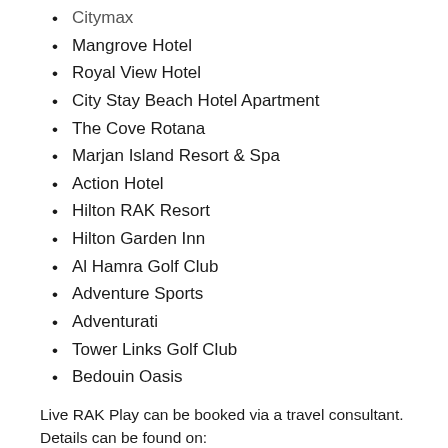Citymax
Mangrove Hotel
Royal View Hotel
City Stay Beach Hotel Apartment
The Cove Rotana
Marjan Island Resort & Spa
Action Hotel
Hilton RAK Resort
Hilton Garden Inn
Al Hamra Golf Club
Adventure Sports
Adventurati
Tower Links Golf Club
Bedouin Oasis
Live RAK Play can be booked via a travel consultant. Details can be found on: www.visitrasalkhaimah.com/rak-live-play